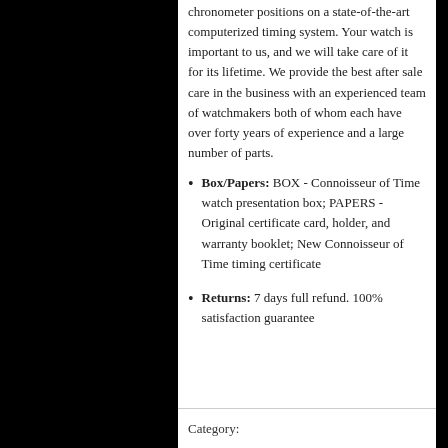chronometer positions on a state-of-the-art computerized timing system. Your watch is important to us, and we will take care of it for its lifetime. We provide the best after sale care in the business with an experienced team of watchmakers both of whom each have over forty years of experience and a large number of parts.
Box/Papers: BOX - Connoisseur of Time watch presentation box; PAPERS - Original certificate card, holder, and warranty booklet; New Connoisseur of Time timing certificate
Returns: 7 days full refund. 100% satisfaction guarantee
Category:
Auto, Elapsed Time Bezel, Helium Escape Valve, Mens, Omega, Quick-Setting Date, Stainless Steel
Type: